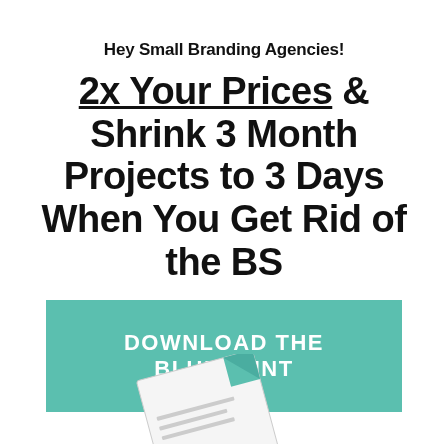Hey Small Branding Agencies!
2x Your Prices & Shrink 3 Month Projects to 3 Days When You Get Rid of the BS
DOWNLOAD THE BLUEPRINT
[Figure (illustration): Partial view of a printed document/book with text 'NO BS' visible at the bottom of the page]